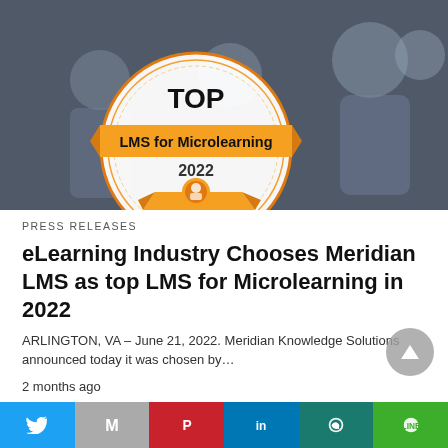[Figure (illustration): Hero image showing a badge award graphic 'TOP LMS for Microlearning 2022' overlaid on a photo of people collaborating around a table. The badge is circular with orange/gold colors and a ribbon banner.]
PRESS RELEASES
eLearning Industry Chooses Meridian LMS as top LMS for Microlearning in 2022
ARLINGTON, VA – June 21, 2022. Meridian Knowledge Solutions announced today it was chosen by…
2 months ago
[Figure (infographic): Social share bar with icons for Twitter (blue), Email/M (gray), Pinterest (red), LinkedIn (blue), WhatsApp (teal), Line (green)]